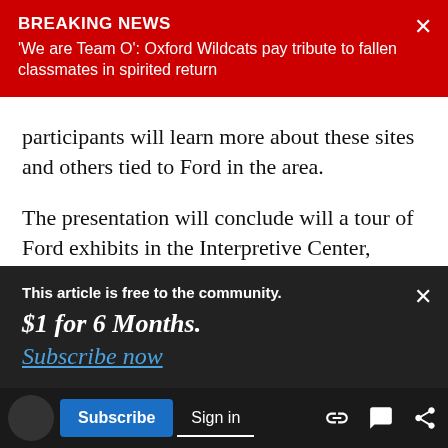BREAKING NEWS
'We are Team O': Oxford Wildcats pay tribute to fallen classmates in spirited return
participants will learn more about these sites and others tied to Ford in the area.
The presentation will conclude will a tour of Ford exhibits in the Interpretive Center, officials said.
The programs are recommended for ages 12 and up. The cost is $3 per person and an additional $1
This article is free to the community.
$1 for 6 Months.
Subscribe now
Subscribe  Sign in